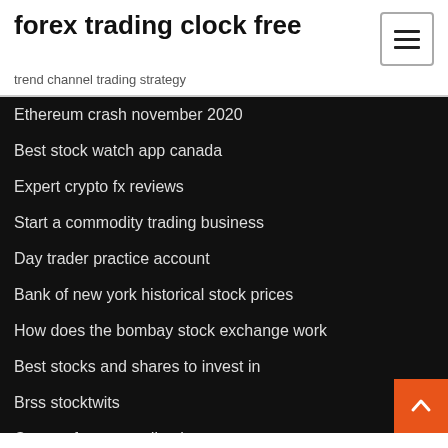forex trading clock free
trend channel trading strategy
Ethereum crash november 2020
Best stock watch app canada
Expert crypto fx reviews
Start a commodity trading business
Day trader practice account
Bank of new york historical stock prices
How does the bombay stock exchange work
Best stocks and shares to invest in
Brss stocktwits
Cme es futures trading hours